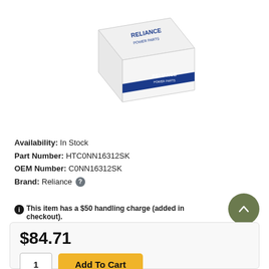[Figure (photo): White product box with RELIANCE POWER PARTS logo on top and side, branded packaging for an auto/tractor part.]
Availability: In Stock
Part Number: HTC0NN16312SK
OEM Number: C0NN16312SK
Brand: Reliance
This item has a $50 handling charge (added in checkout).
$84.71
Add To Cart